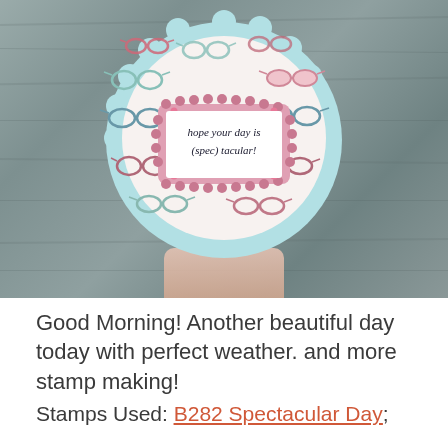[Figure (photo): A handmade greeting card with a light blue scalloped circular base, an inner white circle covered in colorful eyeglass/spectacles pattern (pink, teal, red glasses), and a pink scalloped rectangular frame holding a white card stamped with the message 'hope your day is (spec) tacular!' in cursive. A hand is visible holding the card from below. Background is a grey wooden surface.]
Good Morning!  Another beautiful day today with perfect weather. and more stamp making!
Stamps Used: B282 Spectacular Day;